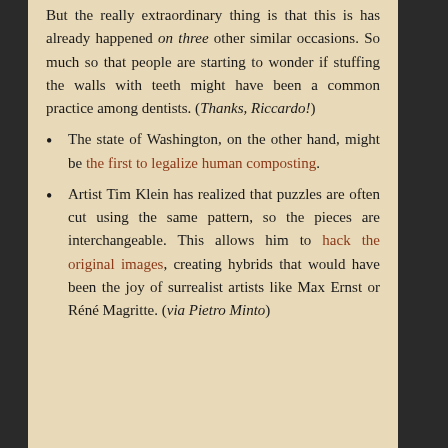But the really extraordinary thing is that this is has already happened on three other similar occasions. So much so that people are starting to wonder if stuffing the walls with teeth might have been a common practice among dentists. (Thanks, Riccardo!)
The state of Washington, on the other hand, might be the first to legalize human composting.
Artist Tim Klein has realized that puzzles are often cut using the same pattern, so the pieces are interchangeable. This allows him to hack the original images, creating hybrids that would have been the joy of surrealist artists like Max Ernst or Réné Magritte. (via Pietro Minto)